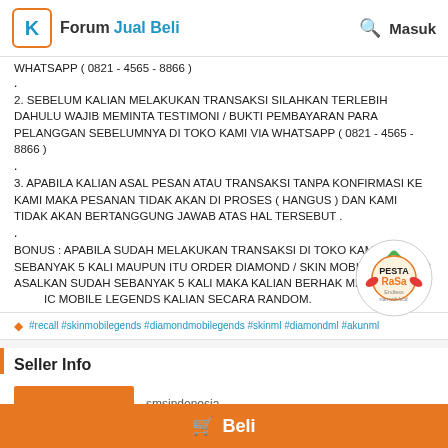Forum Jual Beli  Masuk
WHATSAPP ( 0821 - 4565 - 8866 )
.
2. SEBELUM KALIAN MELAKUKAN TRANSAKSI SILAHKAN TERLEBIH DAHULU WAJIB MEMINTA TESTIMONI / BUKTI PEMBAYARAN PARA PELANGGAN SEBELUMNYA DI TOKO KAMI VIA WHATSAPP ( 0821 - 4565 - 8866 )
.
3. APABILA KALIAN ASAL PESAN ATAU TRANSAKSI TANPA KONFIRMASI KE KAMI MAKA PESANAN TIDAK AKAN DI PROSES ( HANGUS ) DAN KAMI TIDAK AKAN BERTANGGUNG JAWAB ATAS HAL TERSEBUT .
.
BONUS : APABILA SUDAH MELAKUKAN TRANSAKSI DI TOKO KAMI SEBANYAK 5 KALI MAUPUN ITU ORDER DIAMOND / SKIN MOBILE LEGENDS ASALKAN SUDAH SEBANYAK 5 KALI MAKA KALIAN BERHAK MENDAPATKAN SKIN IC MOBILE LEGENDS KALIAN SECARA RANDOM.
#recall #skinmobilegends #diamondmobilegends #skinml #diamondml #akunml
Seller Info
smsindonesia